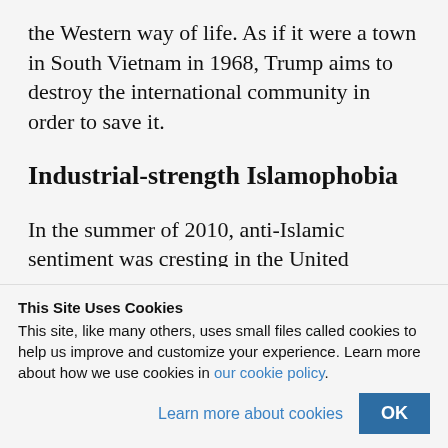the Western way of life. As if it were a town in South Vietnam in 1968, Trump aims to destroy the international community in order to save it.
Industrial-strength Islamophobia
In the summer of 2010, anti-Islamic sentiment was cresting in the United
This Site Uses Cookies
This site, like many others, uses small files called cookies to help us improve and customize your experience. Learn more about how we use cookies in our cookie policy.
Learn more about cookies
OK